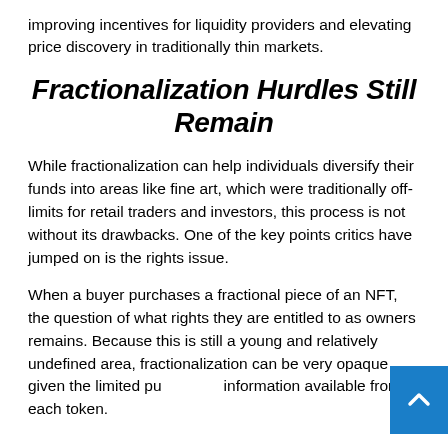improving incentives for liquidity providers and elevating price discovery in traditionally thin markets.
Fractionalization Hurdles Still Remain
While fractionalization can help individuals diversify their funds into areas like fine art, which were traditionally off-limits for retail traders and investors, this process is not without its drawbacks. One of the key points critics have jumped on is the rights issue.
When a buyer purchases a fractional piece of an NFT, the question of what rights they are entitled to as owners remains. Because this is still a young and relatively undefined area, fractionalization can be very opaque given the limited public information available from each token.